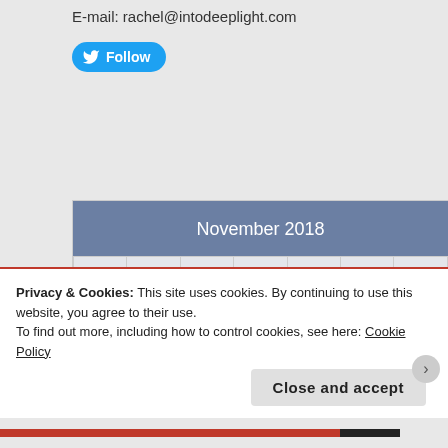E-mail: rachel@intodeeplight.com
[Figure (other): Twitter Follow button (blue rounded rectangle with bird icon and 'Follow' text)]
| S | M | T | W | T | F | S |
| --- | --- | --- | --- | --- | --- | --- |
|  |  |  |  | 1 | 2 | 3 |
| 4 | 5 | 6 | 7 | 8 | 9 | 10 |
Privacy & Cookies: This site uses cookies. By continuing to use this website, you agree to their use.
To find out more, including how to control cookies, see here: Cookie Policy
Close and accept